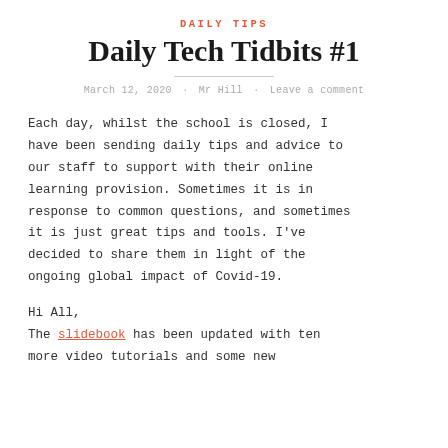DAILY TIPS
Daily Tech Tidbits #1
March 12, 2020 · Mr Hill · Leave a comment
Each day, whilst the school is closed, I have been sending daily tips and advice to our staff to support with their online learning provision. Sometimes it is in response to common questions, and sometimes it is just great tips and tools. I've decided to share them in light of the ongoing global impact of Covid-19.
Hi All,
The slidebook has been updated with ten more video tutorials and some new